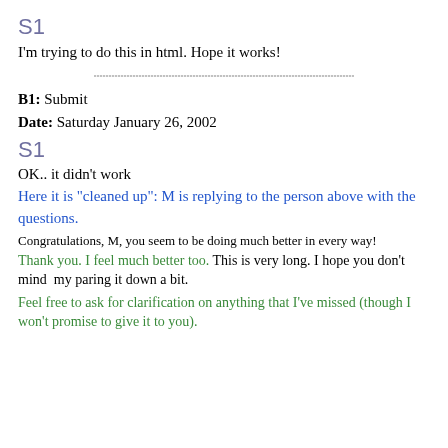S1
I'm trying to do this in html. Hope it works!
[Figure (other): Horizontal decorative divider line]
B1: Submit
Date: Saturday January 26, 2002
S1
OK.. it didn't work
Here it is "cleaned up": M is replying to the person above with the questions.
Congratulations, M, you seem to be doing much better in every way!
Thank you. I feel much better too. This is very long. I hope you don't mind  my paring it down a bit.
Feel free to ask for clarification on anything that I've missed (though I won't promise to give it to you).